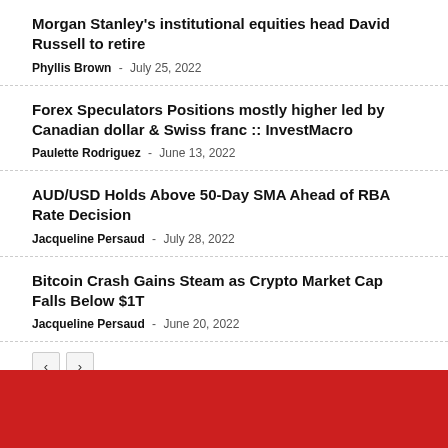Morgan Stanley’s institutional equities head David Russell to retire
Phyllis Brown - July 25, 2022
Forex Speculators Positions mostly higher led by Canadian dollar & Swiss franc :: InvestMacro
Paulette Rodriguez - June 13, 2022
AUD/USD Holds Above 50-Day SMA Ahead of RBA Rate Decision
Jacqueline Persaud - July 28, 2022
Bitcoin Crash Gains Steam as Crypto Market Cap Falls Below $1T
Jacqueline Persaud - June 20, 2022
[Figure (other): Red footer bar at bottom of page with social media icons partially visible]